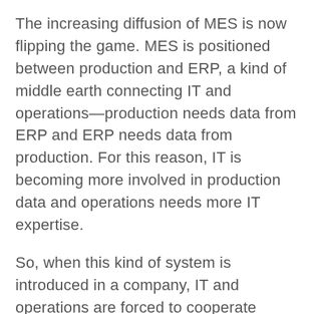The increasing diffusion of MES is now flipping the game. MES is positioned between production and ERP, a kind of middle earth connecting IT and operations—production needs data from ERP and ERP needs data from production. For this reason, IT is becoming more involved in production data and operations needs more IT expertise.
So, when this kind of system is introduced in a company, IT and operations are forced to cooperate sharing knowledge, expertise and habits, creating a common shared governance. The expectation is that the same thing would happen for cloud.
But when cloud systems were first